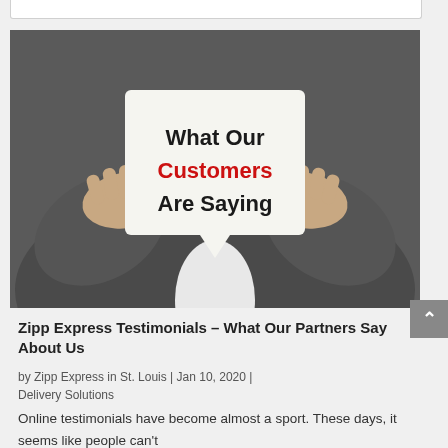[Figure (photo): A man in a suit holding a white speech bubble card that reads 'What Our Customers Are Saying' — 'Customers' in red, rest in dark text]
Zipp Express Testimonials – What Our Partners Say About Us
by Zipp Express in St. Louis | Jan 10, 2020 | Delivery Solutions
Online testimonials have become almost a sport. These days, it seems like people can't